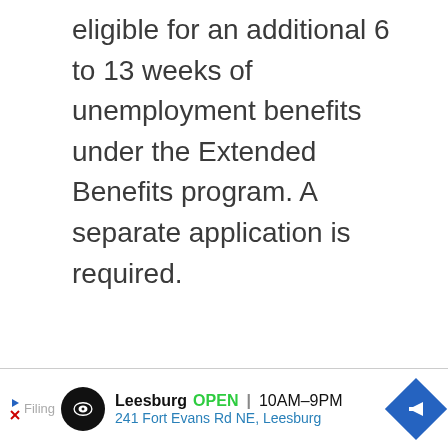eligible for an additional 6 to 13 weeks of unemployment benefits under the Extended Benefits program. A separate application is required.
[Figure (other): Advertisement bar showing Leesburg store location - OPEN 10AM-9PM, 241 Fort Evans Rd NE, Leesburg, with navigation arrow icon]